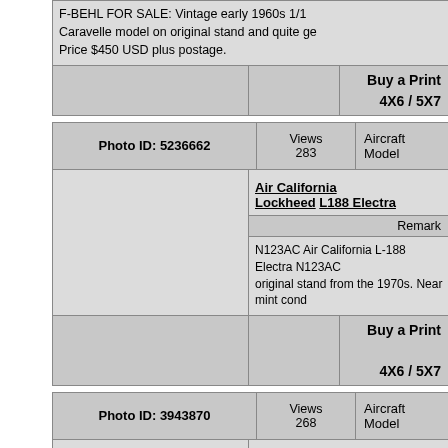F-BEHL FOR SALE: Vintage early 1960s 1/100 Caravelle model on original stand and quite ge... Price $450 USD plus postage.
Buy a Print
4X6 / 5X7
| Photo ID: 5236662 | Views 283 | Aircraft Model |
| --- | --- | --- |
| (photo area) | Air California
Lockheed L188 Electra | Remark
N123AC Air California L-188 Electra N123AC original stand from the 1970s. Near mint cond... |
|  |  | Buy a Print
4X6 / 5X7 |
| Photo ID: 3943870 | Views 268 | Aircraft Model |
| --- | --- | --- |
| (photo area) | Untitled
Douglas C-124 Globemaster II | Remark
FOR SALE: Douglas Factory Model C-124 Gl... |
|  |  |  |